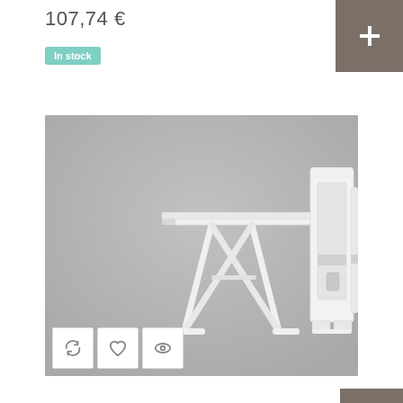107,74 €
In stock
[Figure (photo): Product photo showing two white folding tables — one set up with crossed legs and flat top surface, one folded vertically with support bracket visible, on a grey background.]
Set 2 folding tables with white support Ref.1391B